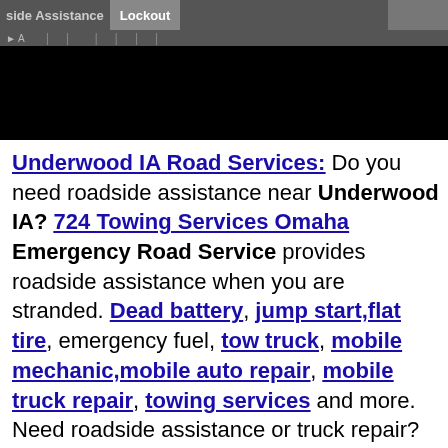[Figure (screenshot): Website banner image showing roadside assistance and towing services, dark background with partial text visible at top]
Underwood IA Road Services: Do you need roadside assistance near Underwood IA? 724 Towing Services Omaha Emergency Road Service provides roadside assistance when you are stranded. Dead battery, jump start,flat tire, emergency fuel, tow truck, mobile mechanic,mobile auto repair, mobile truck repair, towing services and more. Need roadside assistance or truck repair? Is your truck, trailer or RV broken down? Use our Free Breakdown Directory to find the help you need quickly and easily! Underwood IA!